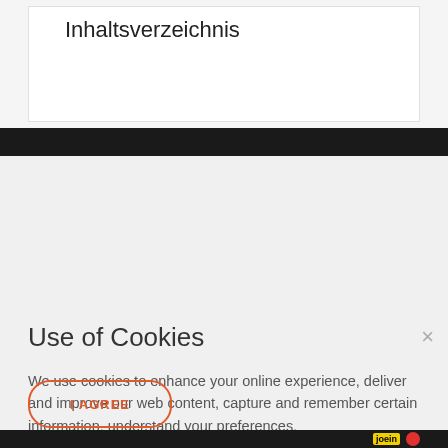Inhaltsverzeichnis
Use of Cookies
We use cookies to enhance your online experience, deliver and improve our web content, capture and remember certain information, understand your preferences.
Browsing our website means you consent to the usage of cookies. For more information see our privacy policy.
I AGREE